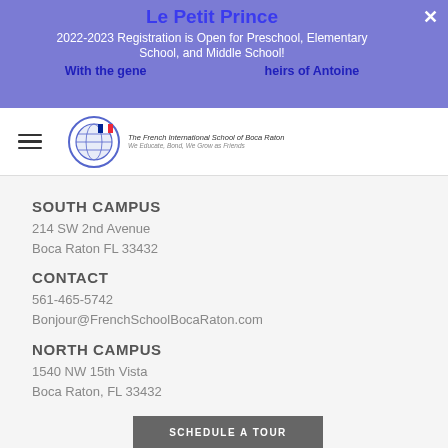Le Petit Prince
2022-2023 Registration is Open for Preschool, Elementary School, and Middle School!
With the generous support of the heirs of Antoine
[Figure (logo): The French International School of Boca Raton logo - globe with French flag colors]
SOUTH CAMPUS
214 SW 2nd Avenue
Boca Raton FL 33432
CONTACT
561-465-5742
Bonjour@FrenchSchoolBocaRaton.com
NORTH CAMPUS
1540 NW 15th Vista
Boca Raton, FL 33432
SCHEDULE A TOUR
L'ECOLE FRANCAISE